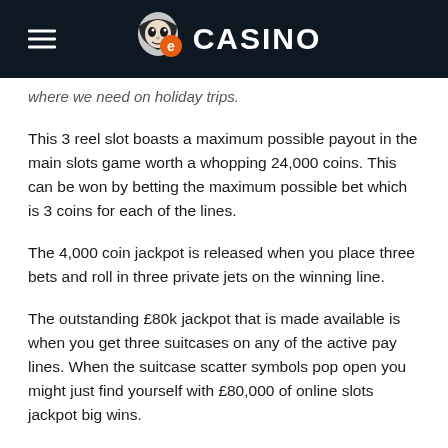eCASINO
where we need on holiday trips.
This 3 reel slot boasts a maximum possible payout in the main slots game worth a whopping 24,000 coins. This can be won by betting the maximum possible bet which is 3 coins for each of the lines.
The 4,000 coin jackpot is released when you place three bets and roll in three private jets on the winning line.
The outstanding £80k jackpot that is made available is when you get three suitcases on any of the active pay lines. When the suitcase scatter symbols pop open you might just find yourself with £80,000 of online slots jackpot big wins.